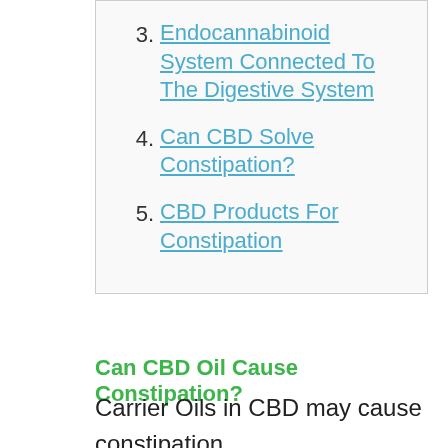3. Endocannabinoid System Connected To The Digestive System
4. Can CBD Solve Constipation?
5. CBD Products For Constipation
Can CBD Oil Cause Constipation?
Carrier Oils in CBD may cause constipation.